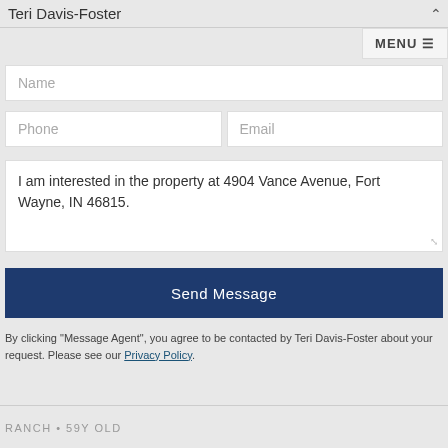Teri Davis-Foster
MENU
Name
Phone
Email
I am interested in the property at 4904 Vance Avenue, Fort Wayne, IN 46815.
Send Message
By clicking "Message Agent", you agree to be contacted by Teri Davis-Foster about your request. Please see our Privacy Policy.
RANCH • 59Y OLD